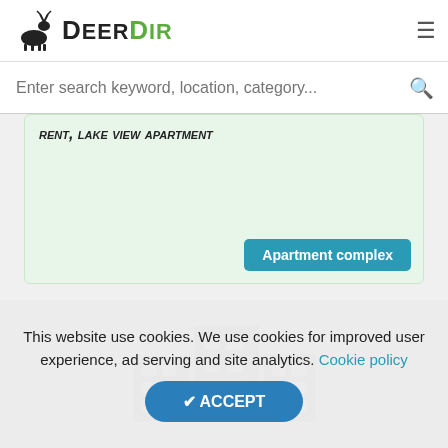DeerDir
Enter search keyword, location, category...
rent, lake view apartment
Apartment complex
[Figure (illustration): Building/apartment complex icon with three grey buildings]
This website use cookies. We use cookies for improved user experience, ad serving and site analytics. Cookie policy
✔ ACCEPT